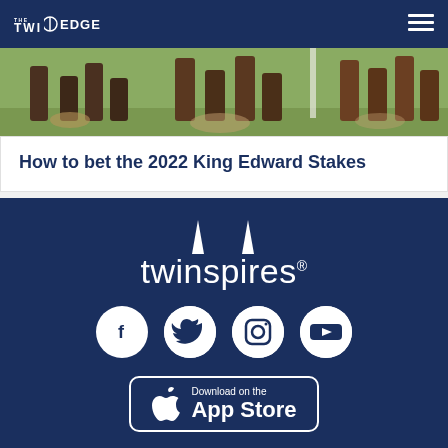THE TWINSPIRES EDGE
[Figure (photo): Close-up photo of horse legs running on grass, showing multiple horses in motion]
How to bet the 2022 King Edward Stakes
[Figure (logo): TwinSpires logo in white with two spire icons above the wordmark 'twinspires' with a registered trademark symbol]
[Figure (infographic): Social media icons: Facebook, Twitter, Instagram, YouTube — all white circles on dark blue background]
[Figure (screenshot): Download on the App Store button with Apple logo]